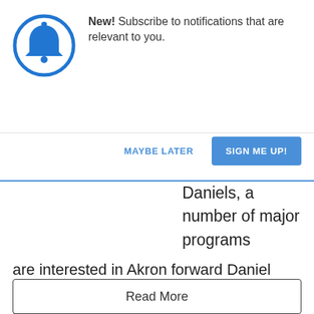[Figure (illustration): Blue bell icon inside a blue circle, representing notifications]
New! Subscribe to notifications that are relevant to you.
MAYBE LATER
SIGN ME UP!
Daniels, a number of major programs are interested in Akron forward Daniel Utomi. The 6-foot-6 Utomi is a grad transfer coming off two straight years a starter for the Zips. Over the past two seasons, Utomi has averaged over 15 points per game and five rebounds per game. His strong play [...]
Read More